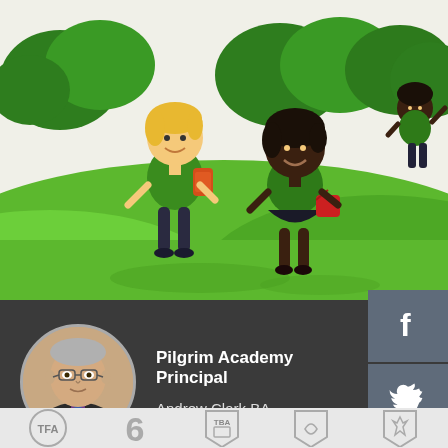[Figure (illustration): Illustrated scene with two cartoon school children in green uniforms standing on grassy hills with trees in the background. A third child is visible in the upper right. Bright green landscape with white sky.]
[Figure (photo): Circular profile photo of Andrew Clark BA, Pilgrim Academy Principal, a man wearing glasses and a dark jacket with a blue tie.]
Pilgrim Academy Principal
Andrew Clark BA.
[Figure (logo): Social media sidebar with Facebook, Twitter, and Instagram icons on grey-blue buttons]
[Figure (logo): Footer logos: TFA shield, 6, TBA shield, stylized deer/animal shield, heron/bird shield]